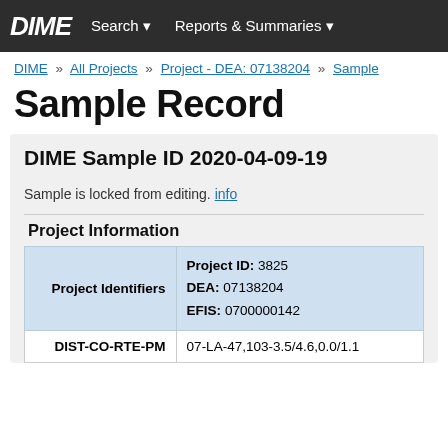DIME  Search ▾  Reports & Summaries ▾
DIME » All Projects » Project - DEA: 07138204 » Sample
Sample Record
DIME Sample ID 2020-04-09-19
Sample is locked from editing. info
Project Information
|  |  |
| --- | --- |
| Project Identifiers | Project ID: 3825
DEA: 07138204
EFIS: 0700000142 |
| DIST-CO-RTE-PM | 07-LA-47,103-3.5/4.6,0.0/1.1 |